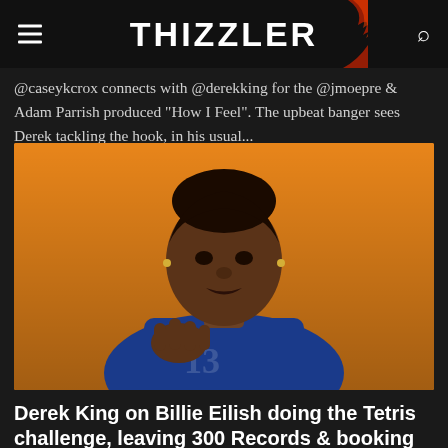THIZZLER
@caseykcrox connects with @derekking for the @jmoepre & Adam Parrish produced "How I Feel". The upbeat banger sees Derek tackling the hook, in his usual...
[Figure (photo): Young man in a blue football jersey with number 13, against an orange background, gesturing with his hand while speaking]
Derek King on Billie Eilish doing the Tetris challenge, leaving 300 Records & booking Summer Jam (Exclusive